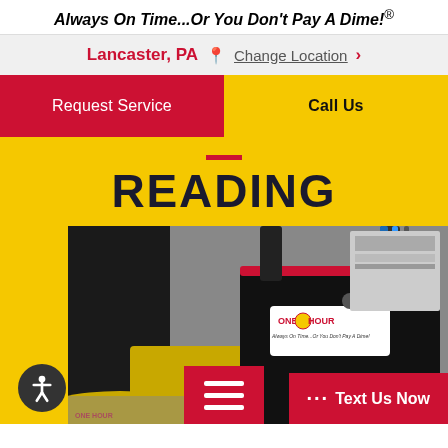Always On Time...Or You Don't Pay A Dime!®
Lancaster, PA 📍 Change Location ›
Request Service
Call Us
READING
[Figure (photo): One Hour Heating & Air technician's tool bag with logo and yellow shoe covers on the ground near HVAC equipment]
♿
··· Text Us Now